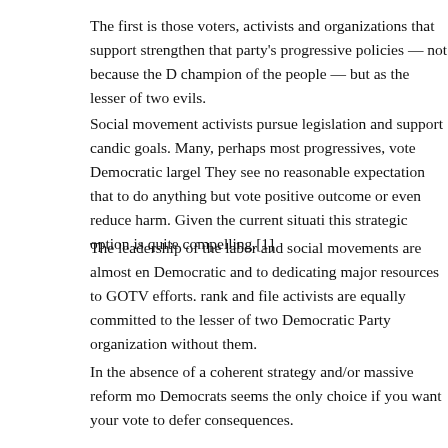The first is those voters, activists and organizations that support strengthen that party's progressive policies — not because the D champion of the people — but as the lesser of two evils.
Social movement activists pursue legislation and support candic goals. Many, perhaps most progressives, vote Democratic largel They see no reasonable expectation that to do anything but vote positive outcome or even reduce harm. Given the current situati this strategic option is quite compelling.[1]
The leadership of the labor and social movements are almost en Democratic and to dedicating major resources to GOTV efforts. rank and file activists are equally committed to the lesser of two Democratic Party organization without them.
In the absence of a coherent strategy and/or massive reform mo Democrats seems the only choice if you want your vote to defer consequences.